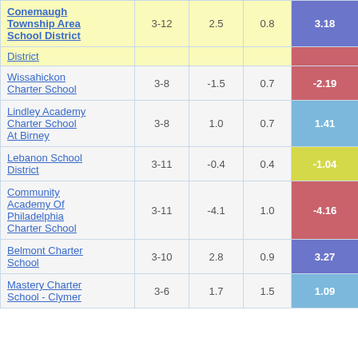| School/District | Grades | Col3 | Col4 | Score |
| --- | --- | --- | --- | --- |
| Conemaugh Township Area School District | 3-12 | 2.5 | 0.8 | 3.18 |
| District (truncated) |  |  |  |  |
| Wissahickon Charter School | 3-8 | -1.5 | 0.7 | -2.19 |
| Lindley Academy Charter School At Birney | 3-8 | 1.0 | 0.7 | 1.41 |
| Lebanon School District | 3-11 | -0.4 | 0.4 | -1.04 |
| Community Academy Of Philadelphia Charter School | 3-11 | -4.1 | 1.0 | -4.16 |
| Belmont Charter School | 3-10 | 2.8 | 0.9 | 3.27 |
| Mastery Charter School - Clymer | 3-6 | 1.7 | 1.5 | 1.09 |